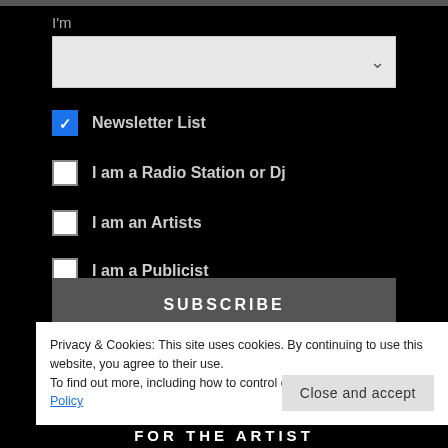I'm
[Figure (screenshot): Dropdown select field (gray background with down arrow)]
Newsletter List (checked checkbox)
I am a Radio Station or Dj (unchecked checkbox)
I am an Artists (unchecked checkbox)
I am a Publicist (unchecked checkbox)
SUBSCRIBE
Privacy & Cookies: This site uses cookies. By continuing to use this website, you agree to their use.
To find out more, including how to control cookies, see here: Cookie Policy
Close and accept
FOR THE ARTIST